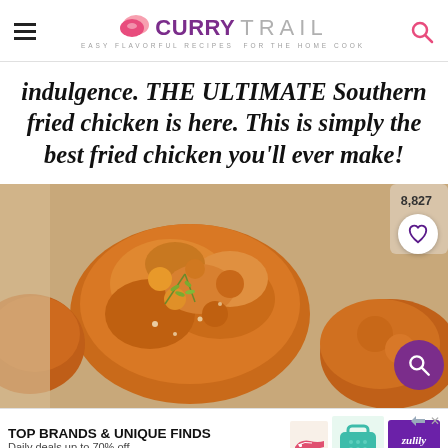Curry Trail — Easy Flavorful Recipes For The Home Cook
indulgence. THE ULTIMATE Southern fried chicken is here. This is simply the best fried chicken you'll ever make!
[Figure (photo): Close-up photo of crispy golden Southern fried chicken pieces garnished with fresh thyme, with 8,827 saves count, a white heart save button, and a purple search button overlaid.]
TOP BRANDS & UNIQUE FINDS
Daily deals up to 70% off